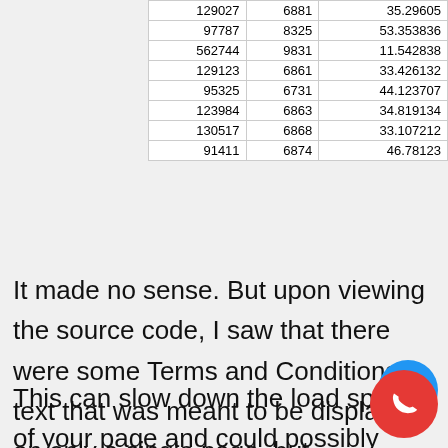| 129027 | 6881 | 35.29605 |
| 97787 | 8325 | 53.353836 |
| 562744 | 9831 | 11.542838 |
| 129123 | 6861 | 33.426132 |
| 95325 | 6731 | 44.123707 |
| 123984 | 6863 | 34.819134 |
| 130517 | 6868 | 33.107212 |
| 91411 | 6874 | 46.78123 |
It made no sense. But upon viewing the source code, I saw that there were some Terms and Conditions text that was meant to be displayed on only a single page, but embedded on every page of the site with a “Display: none;” CSS style.
This can slow down the load speed of your page and could possibly trigger some penalty issues if seen as intentional